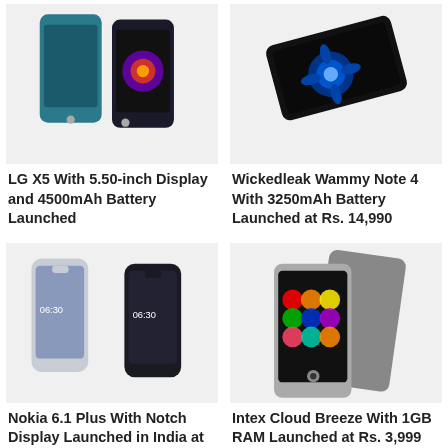[Figure (photo): LG X5 smartphones — two phones, one teal/blue and one dark with colorful display]
[Figure (photo): Wickedleak Wammy Note 4 smartphone — black phone with blue flower on display, angled view]
LG X5 With 5.50-inch Display and 4500mAh Battery Launched
Wickedleak Wammy Note 4 With 3250mAh Battery Launched at Rs. 14,990
[Figure (photo): Nokia 6.1 Plus smartphones — two phones with notch display]
[Figure (photo): Intex Cloud Breeze smartphone — gray phone with colorful bubble/circle pattern on display]
Nokia 6.1 Plus With Notch Display Launched in India at Rs.15,999
Intex Cloud Breeze With 1GB RAM Launched at Rs. 3,999
[Figure (photo): Dark-colored smartphones arranged together on a dark background]
[Figure (photo): Smartphone with wooden/tan background]